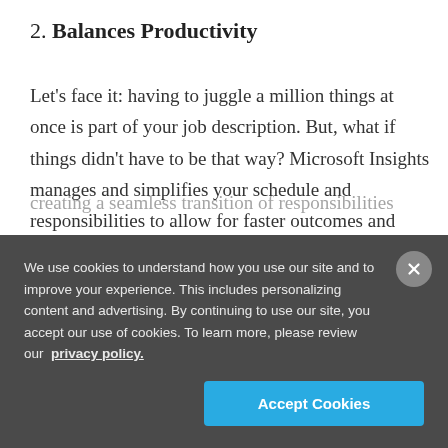2. Balances Productivity
Let's face it: having to juggle a million things at once is part of your job description. But, what if things didn't have to be that way? Microsoft Insights manages and simplifies your schedule and responsibilities to allow for faster outcomes and greater quality of work. This is made possible by implementing insights into your software and creating a seamless transition of responsibilities
We use cookies to understand how you use our site and to improve your experience. This includes personalizing content and advertising. By continuing to use our site, you accept our use of cookies. To learn more, please review our privacy policy.